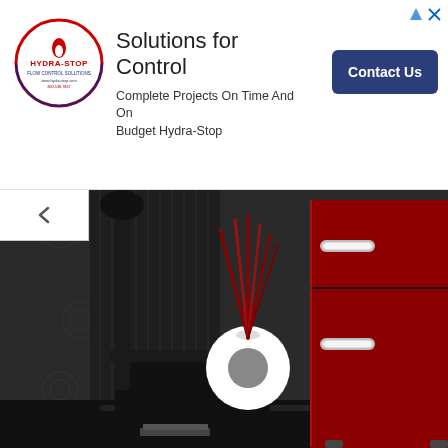[Figure (photo): Hydra-Stop company logo — circular badge with blue and red text]
Solutions for Control
Complete Projects On Time And On Budget Hydra-Stop
Contact Us
[Figure (photo): Retro-style red two-door refrigerator with chrome handles, placed next to a black side table holding a white vase with red decorative branches, against a dark patterned wallpaper background]